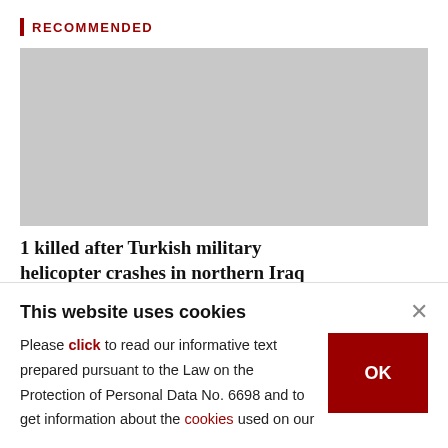RECOMMENDED
[Figure (photo): Gray placeholder image for article thumbnail]
1 killed after Turkish military helicopter crashes in northern Iraq
TURKISH-ARMED-FORCES
This website uses cookies
Please click to read our informative text prepared pursuant to the Law on the Protection of Personal Data No. 6698 and to get information about the cookies used on our